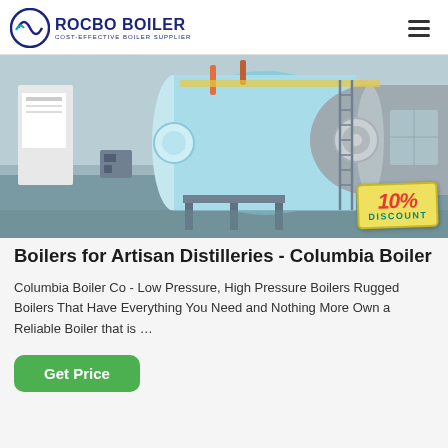ROCBO BOILER | COST-EFFECTIVE BOILER SUPPLIER
[Figure (photo): Industrial boilers in a factory/warehouse setting, large cylindrical boilers in blue and grey. A 10% DISCOUNT badge is overlaid in the bottom-right corner.]
Boilers for Artisan Distilleries - Columbia Boiler
Columbia Boiler Co - Low Pressure, High Pressure Boilers Rugged Boilers That Have Everything You Need and Nothing More Own a Reliable Boiler that is …
Get Price